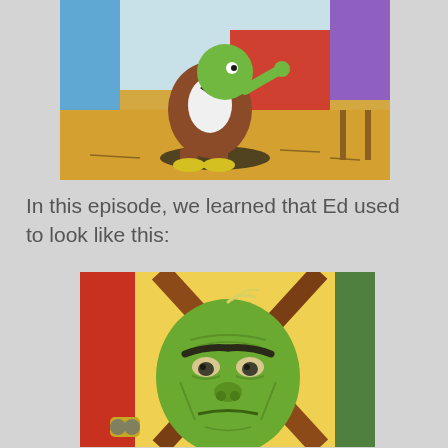[Figure (illustration): Cartoon scene from animated show showing a green frog-like character in brown clothing with a bow tie, crouching near colorful boxes on an orange ground]
In this episode, we learned that Ed used to look like this:
[Figure (illustration): Close-up cartoon face of a green elderly-looking character with heavy wrinkles, thick eyebrows, and a stern expression, set against a yellow background with wooden cross beams]